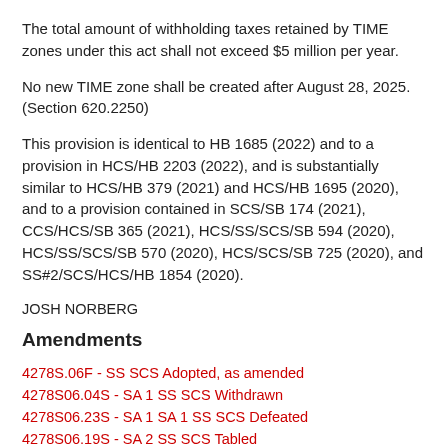The total amount of withholding taxes retained by TIME zones under this act shall not exceed $5 million per year.
No new TIME zone shall be created after August 28, 2025. (Section 620.2250)
This provision is identical to HB 1685 (2022) and to a provision in HCS/HB 2203 (2022), and is substantially similar to HCS/HB 379 (2021) and HCS/HB 1695 (2020), and to a provision contained in SCS/SB 174 (2021), CCS/HCS/SB 365 (2021), HCS/SS/SCS/SB 594 (2020), HCS/SS/SCS/SB 570 (2020), HCS/SCS/SB 725 (2020), and SS#2/SCS/HCS/HB 1854 (2020).
JOSH NORBERG
Amendments
4278S.06F - SS SCS Adopted, as amended
4278S06.04S - SA 1 SS SCS Withdrawn
4278S06.23S - SA 1 SA 1 SS SCS Defeated
4278S06.19S - SA 2 SS SCS Tabled
4278S06.26S - SA 3 SS SCS Tabled
4278S06.21S - SA 4 SS SCS Defeated